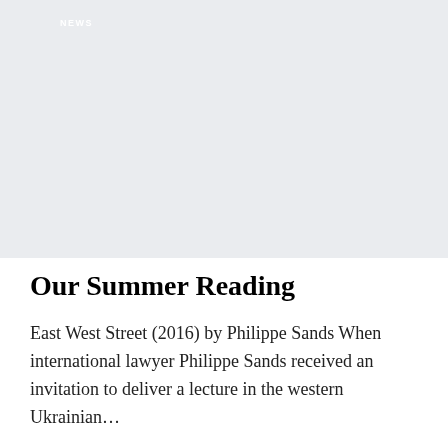[Figure (photo): Large light gray placeholder image area with a 'NEWS' label in white text at the top left corner]
Our Summer Reading
East West Street (2016) by Philippe Sands When international lawyer Philippe Sands received an invitation to deliver a lecture in the western Ukrainian…